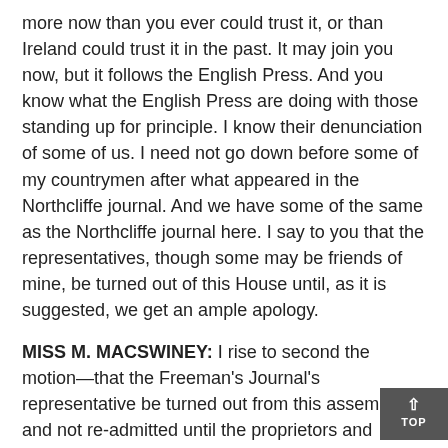more now than you ever could trust it, or than Ireland could trust it in the past. It may join you now, but it follows the English Press. And you know what the English Press are doing with those standing up for principle. I know their denunciation of some of us. I need not go down before some of my countrymen after what appeared in the Northcliffe journal. And we have some of the same as the Northcliffe journal here. I say to you that the representatives, though some may be friends of mine, be turned out of this House until, as it is suggested, we get an ample apology.
MISS M. MACSWINEY: I rise to second the motion—that the Freeman's Journal's representative be turned out from this assembly and not re-admitted until the proprietors and editors of the journal give an undertaking that they will report what happens here. It is for us and the country to decide, and I consider that everybody here knows— everybody here from Mr. Griffith down to the humblest member knows what faith is to be put in any protestations of the Freeman's